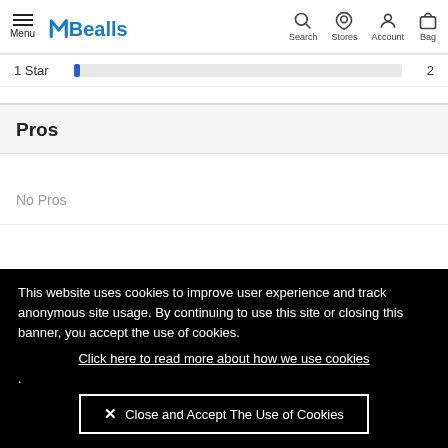Menu | Bealls | Search | Stores | Account | Bag
1 Star  2
Pros
No Pros
This website uses cookies to improve user experience and track anonymous site usage. By continuing to use this site or closing this banner, you accept the use of cookies. Click here to read more about how we use cookies . Close and Accept The Use of Cookies